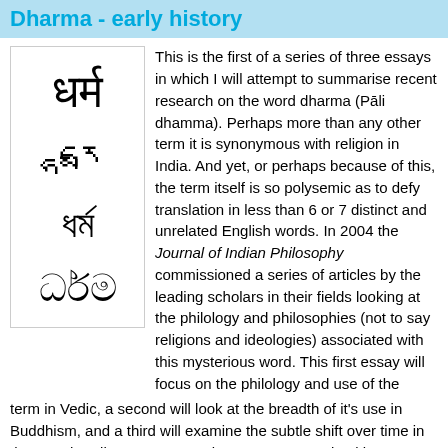Dharma - early history
[Figure (illustration): Dharma written in multiple scripts: Devanagari (Sanskrit), Tibetan, Sinhala, and another script stacked vertically in a bordered box]
This is the first of a series of three essays in which I will attempt to summarise recent research on the word dharma (Pāli dhamma). Perhaps more than any other term it is synonymous with religion in India. And yet, or perhaps because of this, the term itself is so polysemic as to defy translation in less than 6 or 7 distinct and unrelated English words. In 2004 the Journal of Indian Philosophy commissioned a series of articles by the leading scholars in their fields looking at the philology and philosophies (not to say religions and ideologies) associated with this mysterious word. This first essay will focus on the philology and use of the term in Vedic, a second will look at the breadth of it's use in Buddhism, and a third will examine the subtle shift over time in the way that dharma as mental event was conceived by Buddhists. Recent scholarship has shed new light on many of these issues.